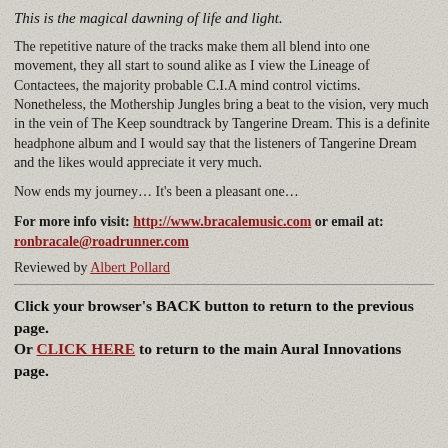This is the magical dawning of life and light.
The repetitive nature of the tracks make them all blend into one movement, they all start to sound alike as I view the Lineage of Contactees, the majority probable C.I.A mind control victims. Nonetheless, the Mothership Jungles bring a beat to the vision, very much in the vein of The Keep soundtrack by Tangerine Dream. This is a definite headphone album and I would say that the listeners of Tangerine Dream and the likes would appreciate it very much.
Now ends my journey… It's been a pleasant one…
For more info visit: http://www.bracalemusic.com or email at: ronbracale@roadrunner.com
Reviewed by Albert Pollard
Click your browser's BACK button to return to the previous page.
Or CLICK HERE to return to the main Aural Innovations page.